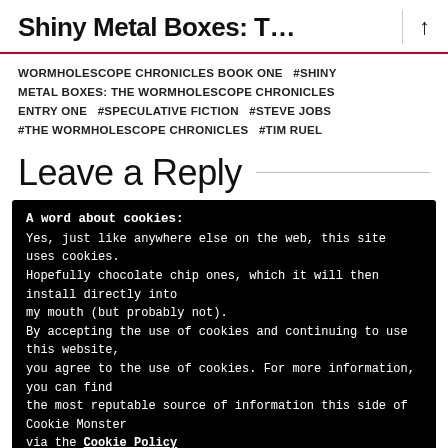Shiny Metal Boxes: T…
WORMHOLESCOPE CHRONICLES BOOK ONE  #SHINY METAL BOXES: THE WORMHOLESCOPE CHRONICLES ENTRY ONE  #SPECULATIVE FICTION  #STEVE JOBS  #THE WORMHOLESCOPE CHRONICLES  #TIM RUEL
Leave a Reply
A word about cookies:
Yes, just like anywhere else on the web, this site uses cookies. Hopefully chocolate chip ones, which it will then install directly into my mouth (but probably not).
By accepting the use of cookies and continuing to use this website, you agree to the use of cookies. For more information, you can find the most reputable source of information this side of Cookie Monster via the Cookie Policy
Go on, do your cookie thing